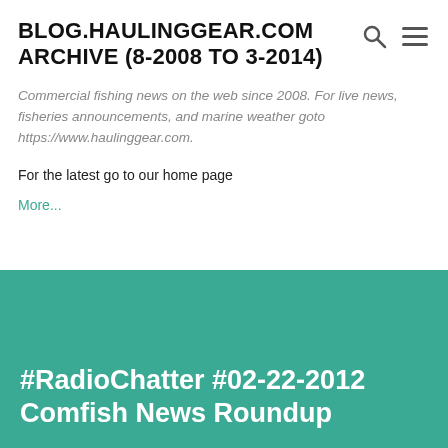BLOG.HAULINGGEAR.COM ARCHIVE (8-2008 TO 3-2014)
Commercial fishing news on the web since 2008. For live news, fisheries announcements, and marine weather goto https://www.haulinggear.com.
For the latest go to our home page
More...
#RadioChatter #02-22-2012 Comfish News Roundup